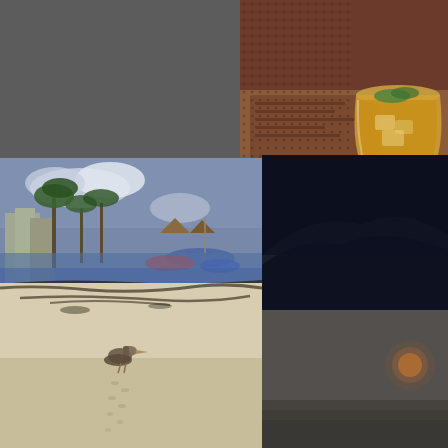[Figure (photo): Close-up of a cocktail drink with ice and mint garnish on a restaurant table with menu visible, warm amber tones]
At Tiny Tiki bar. Mom liked the drinks but not the lazy bartenders
[Figure (photo): Beach scene with white sand, a pelican in the foreground, boats and palm trees in the background, early evening light]
[Figure (photo): Dark nighttime scene with mountains silhouetted against dark blue sky]
[Figure (photo): Dark nighttime or dusk scene, very dark with slight glow, possibly moonrise]